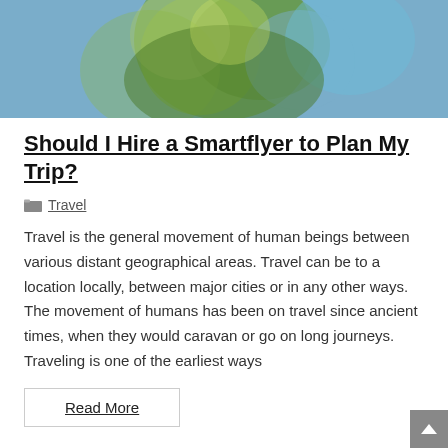[Figure (photo): Blurred outdoor photo with blue sky and green/brown bokeh elements, likely a travel-themed hero image]
Should I Hire a Smartflyer to Plan My Trip?
Travel
Travel is the general movement of human beings between various distant geographical areas. Travel can be to a location locally, between major cities or in any other ways. The movement of humans has been on travel since ancient times, when they would caravan or go on long journeys. Traveling is one of the earliest ways
Read More